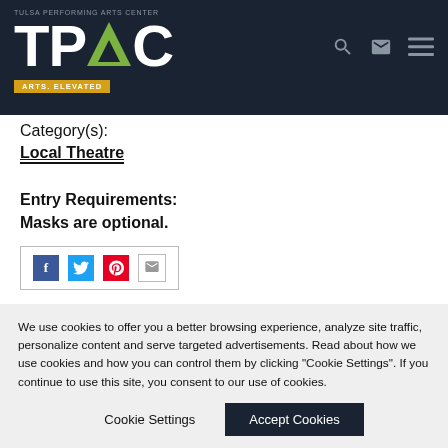TULSA PERFORMING ARTS CENTER — TPAC ARTS. ELEVATED
Category(s):
Local Theatre
Entry Requirements:
Masks are optional.
[Figure (other): Social share buttons: Facebook, Twitter, Pinterest, Email]
Get Tickets
We use cookies to offer you a better browsing experience, analyze site traffic, personalize content and serve targeted advertisements. Read about how we use cookies and how you can control them by clicking "Cookie Settings". If you continue to use this site, you consent to our use of cookies.
Cookie Settings   Accept Cookies